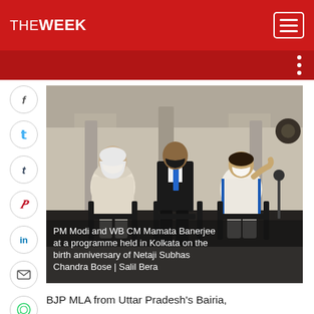THE WEEK
[Figure (photo): PM Modi and WB CM Mamata Banerjee seated at a programme in Kolkata on the birth anniversary of Netaji Subhas Chandra Bose, with a person in a black suit standing between them. All are wearing face masks.]
PM Modi and WB CM Mamata Banerjee at a programme held in Kolkata on the birth anniversary of Netaji Subhas Chandra Bose | Salil Bera
BJP MLA from Uttar Pradesh's Bairia,